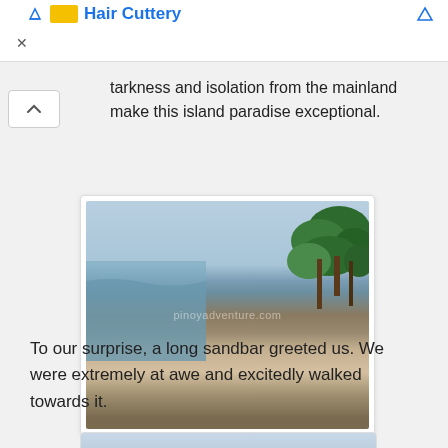Hair Cuttery [advertisement header]
tarkness and isolation from the mainland make this island paradise exceptional.
[Figure (photo): A beach scene showing a long rocky sandbar with sandy patches, calm water on the left, and dense green trees on the right. Watermark text reads 'pinoyadventure.com'.]
To our surprise, a long sandbar greeted us. We were extremely at awe and excitedly walked towards it.
[Figure (photo): Partial view of a second beach photo, showing sky and water, cut off at the bottom of the page.]